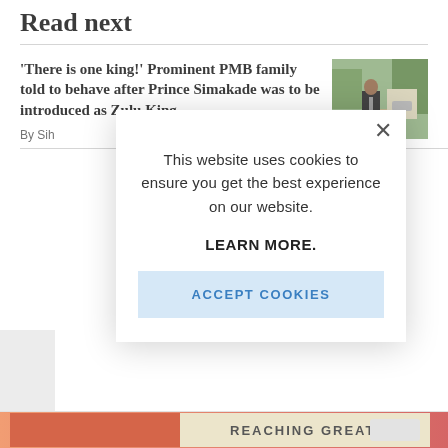Read next
'There is one king!' Prominent PMB family told to behave after Prince Simakade was to be introduced as Zulu King
By Sih
[Figure (photo): A man in a suit walking outdoors with trees in background]
This website uses cookies to ensure you get the best experience on our website.

LEARN MORE.

ACCEPT COOKIES